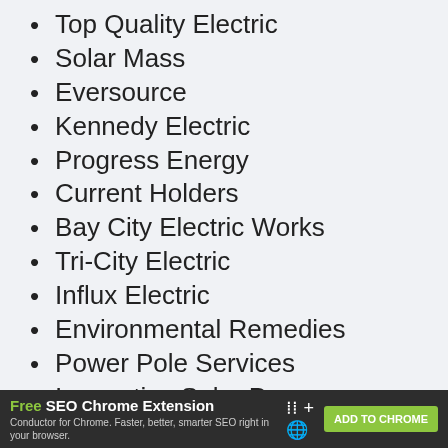Top Quality Electric
Solar Mass
Eversource
Kennedy Electric
Progress Energy
Current Holders
Bay City Electric Works
Tri-City Electric
Influx Electric
Environmental Remedies
Power Pole Services
Innovative Solar Power
Free SEO Chrome Extension — Conductor for Chrome. Faster, better, smarter SEO right in your browser. ADD TO CHROME